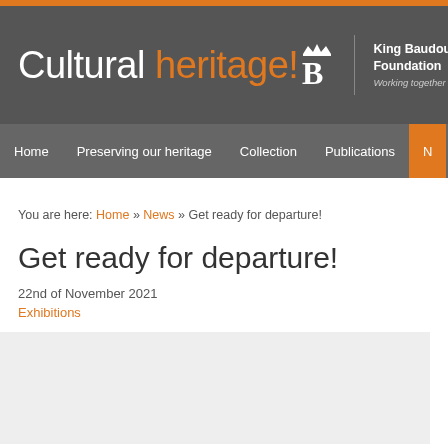Cultural heritage! — King Baudouin Foundation — Working together for a better society
Home | Preserving our heritage | Collection | Publications | N
You are here: Home » News » Get ready for departure!
Get ready for departure!
22nd of November 2021
Exhibitions
[Figure (photo): Gray placeholder image area at the bottom of the page]